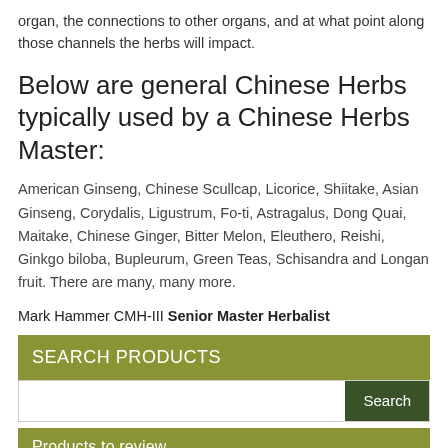organ, the connections to other organs, and at what point along those channels the herbs will impact.
Below are general Chinese Herbs typically used by a Chinese Herbs Master:
American Ginseng, Chinese Scullcap, Licorice, Shiitake, Asian Ginseng, Corydalis, Ligustrum, Fo-ti, Astragalus, Dong Quai, Maitake, Chinese Ginger, Bitter Melon, Eleuthero, Reishi, Ginkgo biloba, Bupleurum, Green Teas, Schisandra and Longan fruit. There are many, many more.
Mark Hammer CMH-III Senior Master Herbalist
SEARCH PRODUCTS
Search
Products to review